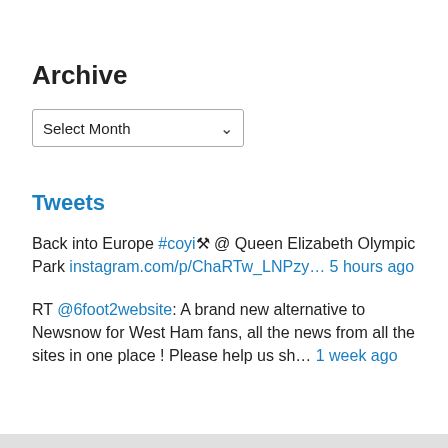Archive
Select Month
Tweets
Back into Europe #coyi ⛏⛏ @ Queen Elizabeth Olympic Park instagram.com/p/ChaRTw_LNPzy… 5 hours ago
RT @6foot2website: A brand new alternative to Newsnow for West Ham fans, all the news from all the sites in one place ! Please help us sh… 1 week ago
Privacy & Cookies: This site uses cookies. By continuing to use this website, you agree to their use.
To find out more, including how to control cookies, see here: Cookie Policy
Close and accept